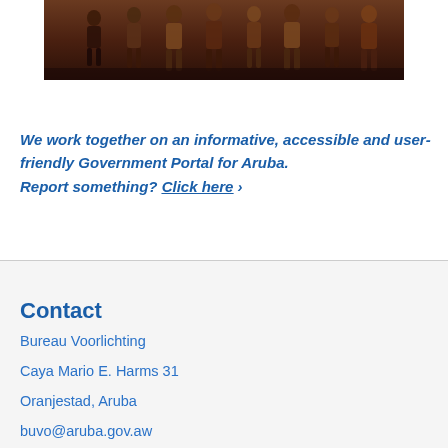[Figure (photo): Group of people standing together on a stage, photographed from below, brownish-orange warm lighting]
We work together on an informative, accessible and user-friendly Government Portal for Aruba. Report something? Click here ›
Contact
Bureau Voorlichting
Caya Mario E. Harms 31
Oranjestad, Aruba
buvo@aruba.gov.aw